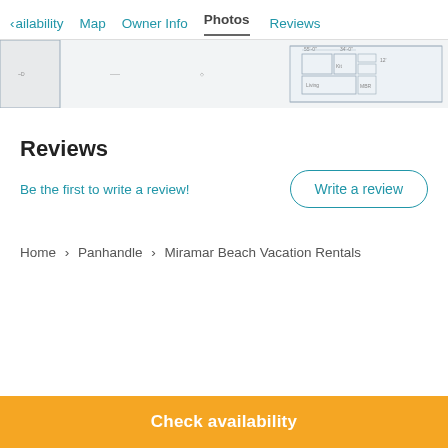< ailability  Map  Owner Info  Photos  Reviews
[Figure (screenshot): Partial photo strip showing blueprint/floor plan thumbnails of a vacation rental property]
Reviews
Be the first to write a review!
Write a review
Home > Panhandle > Miramar Beach Vacation Rentals
Check availability